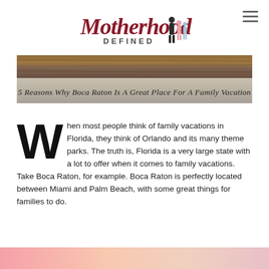[Figure (logo): Motherhood Defined logo with stylized script text and illustrated figures of a mother and children]
[Figure (photo): Hero banner image with wooden texture background and text overlay reading '5 Reasons Why Boca Raton Is A Great Place For A Family Vacation']
When most people think of family vacations in Florida, they think of Orlando and its many theme parks. The truth is, Florida is a very large state with a lot to offer when it comes to family vacations. Take Boca Raton, for example. Boca Raton is perfectly located between Miami and Palm Beach, with some great things for families to do.